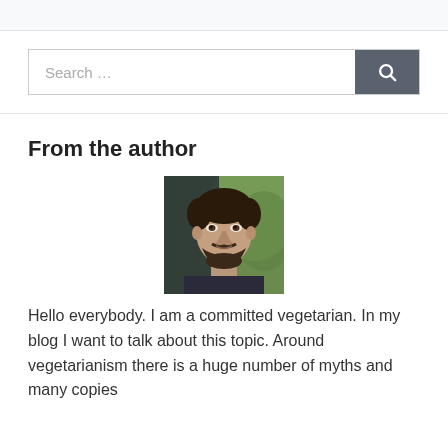Search …
From the author
[Figure (photo): Portrait photo of a dark-haired man with a beard, wearing a dark shirt, with a green blurred background]
Hello everybody. I am a committed vegetarian. In my blog I want to talk about this topic. Around vegetarianism there is a huge number of myths and many copies